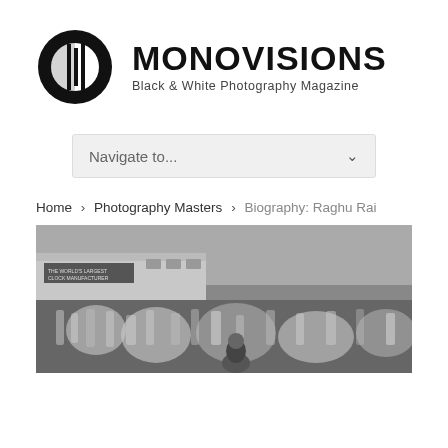[Figure (logo): Monovisions Black & White Photography Magazine logo with stylized circular icon featuring vertical bars and bold MONOVISIONS text with subtitle]
Navigate to...
Home › Photography Masters › Biography: Raghu Rai
[Figure (photo): Black and white photograph of a busy train station platform with crowds of people in motion blur, a train visible on the left with a sign reading 'THE WORLD'S LARGEST CLOCK MANUFACTURER']